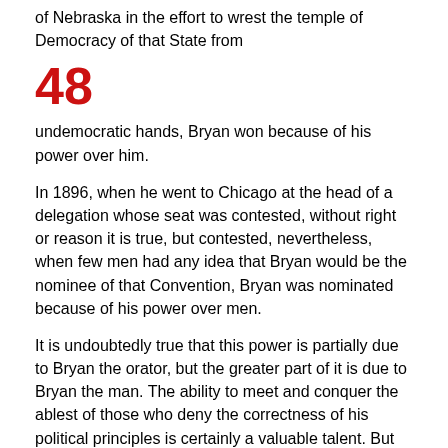of Nebraska in the effort to wrest the temple of Democracy of that State from
48
undemocratic hands, Bryan won because of his power over him.
In 1896, when he went to Chicago at the head of a delegation whose seat was contested, without right or reason it is true, but contested, nevertheless, when few men had any idea that Bryan would be the nominee of that Convention, Bryan was nominated because of his power over men.
It is undoubtedly true that this power is partially due to Bryan the orator, but the greater part of it is due to Bryan the man. The ability to meet and conquer the ablest of those who deny the correctness of his political principles is certainly a valuable talent. But the fact that the man who is able to draw men to him by the power of oratory is able to retain friendship or admiration by his undeviating traits of character is the greatest power that any man may possess. Bryan does that. He has done that in the city of Lincoln, his home. He has done that throughout the State of Nebraska. He has done that in the halls of Congress, where men are not readily influenced, He has done that among the trained newspaper men of the